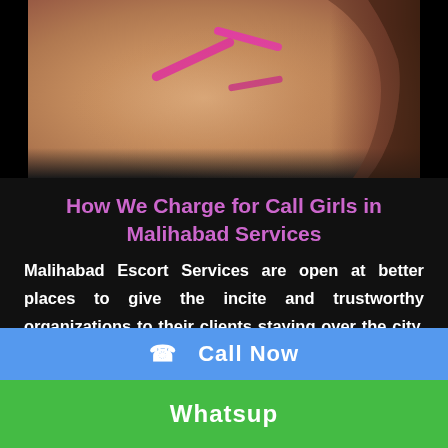[Figure (photo): Close-up photo of a person wearing pink clothing, shown from behind/side on dark background]
How We Charge for Call Girls in Malihabad Services
Malihabad Escort Services are open at better places to give the incite and trustworthy organizations to their clients staying over the city. You basically need to call them, you
☎  Call Now
Whatsup